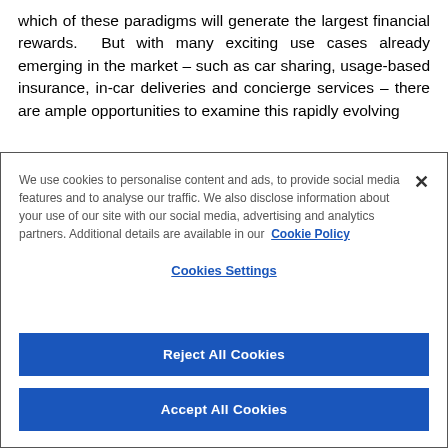which of these paradigms will generate the largest financial rewards. But with many exciting use cases already emerging in the market – such as car sharing, usage-based insurance, in-car deliveries and concierge services – there are ample opportunities to examine this rapidly evolving
We use cookies to personalise content and ads, to provide social media features and to analyse our traffic. We also disclose information about your use of our site with our social media, advertising and analytics partners. Additional details are available in our Cookie Policy
Cookies Settings
Reject All Cookies
Accept All Cookies